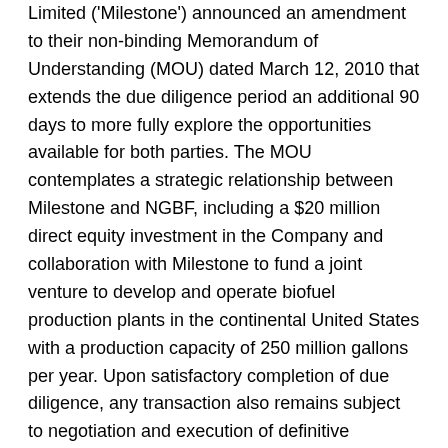Limited ('Milestone') announced an amendment to their non-binding Memorandum of Understanding (MOU) dated March 12, 2010 that extends the due diligence period an additional 90 days to more fully explore the opportunities available for both parties. The MOU contemplates a strategic relationship between Milestone and NGBF, including a $20 million direct equity investment in the Company and collaboration with Milestone to fund a joint venture to develop and operate biofuel production plants in the continental United States with a production capacity of 250 million gallons per year. Upon satisfactory completion of due diligence, any transaction also remains subject to negotiation and execution of definitive agreements, board approval by both parties and likely will need shareholder approval under Nasdaq listing rules, which the Company presently intends to seek at its annual shareholders' meeting.
“Our due diligence process is allowing us to successfully